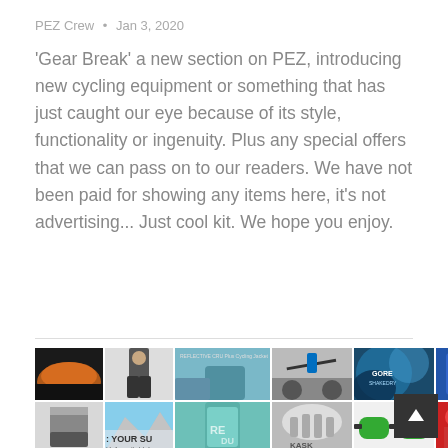PEZ Crew  •  Jan 3, 2020
'Gear Break' a new section on PEZ, introducing new cycling equipment or something that has just caught our eye because of its style, functionality or ingenuity. Plus any special offers that we can pass on to our readers. We have not been paid for showing any items here, it's not advertising... Just cool kit. We hope you enjoy.
[Figure (photo): A collage of cycling gear images in a photo grid, including cycling shoes, bib shorts, a cycling jacket, a cyclist on a trainer, a Gore jersey, a product canister, cycling socks, a mountain landscape with text 'YOUR SU', a teal cycling jersey, a Kask helmet, sunglasses, and a figure in red.]